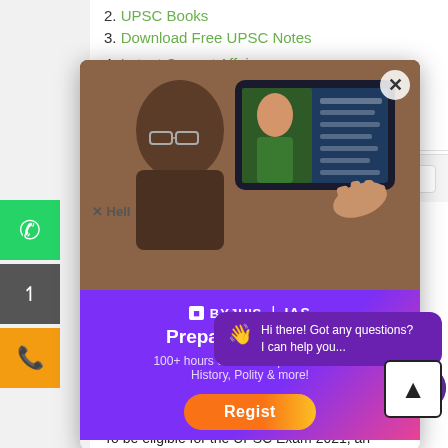3. Download Free UPSC Notes
4. Latest Current Affairs
Hope this helped.
[Figure (screenshot): BYJU'S IAS popup advertisement showing a person looking at a tablet with an online lecture, with headline 'Preparing for IAS?' and subtitle '100+ hours of Free Prep Material on History, Polity & more!' and a Register button]
[Figure (screenshot): Chat bot bubble saying 'Hi there! Got any questions? I can help you...']
Mentor  APRIL 18, 2020 AT 8:26 PM
Hi Ranjith
To be eligible for the UPSC Exam 2021, an